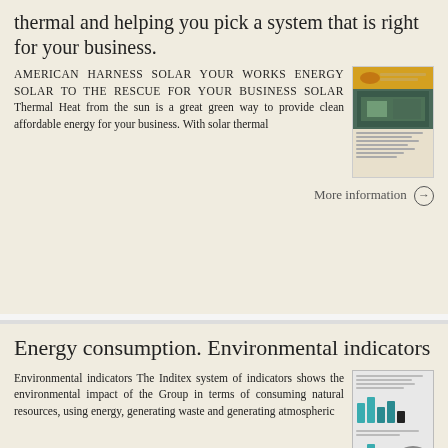thermal and helping you pick a system that is right for your business.
AMERICAN HARNESS SOLAR YOUR WORKS ENERGY SOLAR TO THE RESCUE FOR YOUR BUSINESS SOLAR Thermal Heat from the sun is a great green way to provide clean affordable energy for your business. With solar thermal
[Figure (illustration): Thumbnail image of a solar energy document with an orange bar at top, a nature/solar panel image, and text lines.]
More information →
Energy consumption. Environmental indicators
Environmental indicators The Inditex system of indicators shows the environmental impact of the Group in terms of consuming natural resources, using energy, generating waste and generating atmospheric
[Figure (illustration): Thumbnail image of an Inditex environmental indicators document with text and small bar charts.]